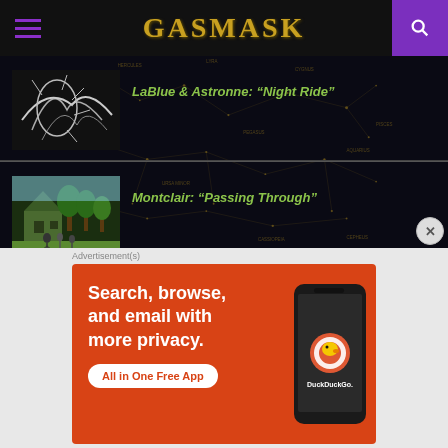GASMASK
LaBlue & Astronne: “Night Ride”
Montclair: “Passing Through”
Cymo: “Untouchable”
[Figure (screenshot): Advertisement for DuckDuckGo app: Search, browse, and email with more privacy. All in One Free App.]